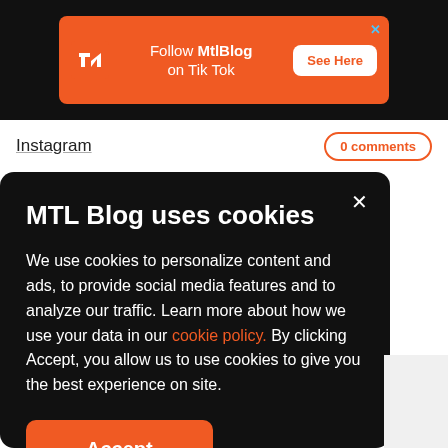[Figure (infographic): Orange ad banner on black bar: MTL Blog logo, text 'Follow MtlBlog on Tik Tok', orange 'See Here' button, blue X close]
Instagram
0 comments
MTL Blog uses cookies
We use cookies to personalize content and ads, to provide social media features and to analyze our traffic. Learn more about how we use your data in our cookie policy. By clicking Accept, you allow us to use cookies to give you the best experience on site.
Accept